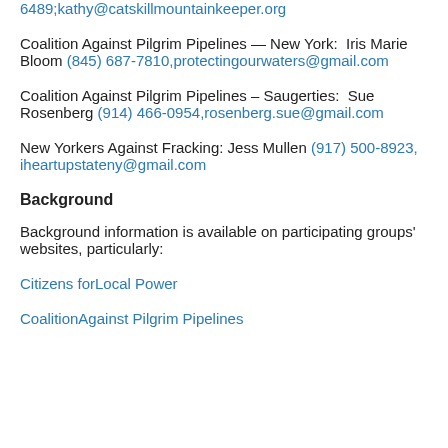6489;kathy@catskillmountainkeeper.org
Coalition Against Pilgrim Pipelines — New York:  Iris Marie Bloom (845) 687-7810,protectingourwaters@gmail.com
Coalition Against Pilgrim Pipelines – Saugerties:  Sue Rosenberg (914) 466-0954,rosenberg.sue@gmail.com
New Yorkers Against Fracking: Jess Mullen (917) 500-8923, iheartupstateny@gmail.com
Background
Background information is available on participating groups' websites, particularly:
Citizens forLocal Power
CoalitionAgainst Pilgrim Pipelines